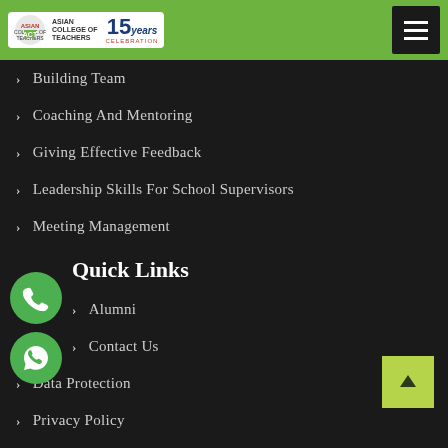[Figure (logo): Asian College of Teachers 15 Years Celebration logo with hamburger menu icon]
Building Team
Coaching And Mentoring
Giving Effective Feedback
Leadership Skills For School Supervisors
Meeting Management
Quick Links
Alumni
Contact Us
Data Protection
Privacy Policy
Trademark Disclaimer
Apply